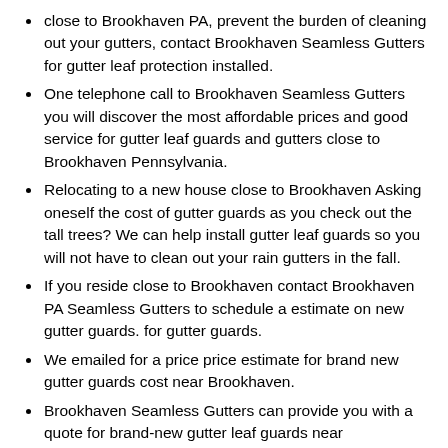close to Brookhaven PA, prevent the burden of cleaning out your gutters, contact Brookhaven Seamless Gutters for gutter leaf protection installed.
One telephone call to Brookhaven Seamless Gutters you will discover the most affordable prices and good service for gutter leaf guards and gutters close to Brookhaven Pennsylvania.
Relocating to a new house close to Brookhaven Asking oneself the cost of gutter guards as you check out the tall trees? We can help install gutter leaf guards so you will not have to clean out your rain gutters in the fall.
If you reside close to Brookhaven contact Brookhaven PA Seamless Gutters to schedule a estimate on new gutter guards. for gutter guards.
We emailed for a price price estimate for brand new gutter guards cost near Brookhaven.
Brookhaven Seamless Gutters can provide you with a quote for brand-new gutter leaf guards near Brookhaven Pennsylvania.
Call the pros at Brookhaven Seamless Gutters we can really help you within Brookhaven PA.
Whenever making the expense in gutter guards, call the best